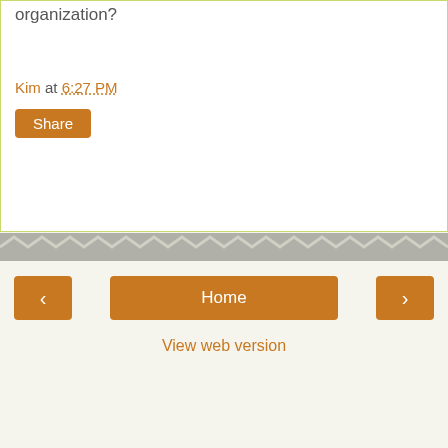organization?
Kim at 6:27 PM
Share
Home
View web version